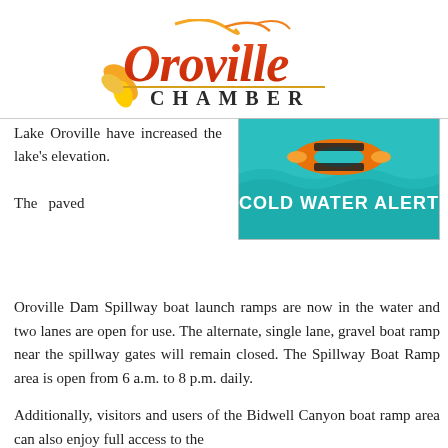[Figure (logo): Oroville Chamber of Commerce logo with stylized orange and red script 'Oroville' text and gold flower, with 'CHAMBER' in spaced capital letters below]
Lake Oroville have increased the lake's elevation. The paved Oroville Dam Spillway boat launch ramps are now in the water and two lanes are open for use. The alternate, single lane, gravel boat ramp near the spillway gates will remain closed. The Spillway Boat Ramp area is open from 6 a.m. to 8 p.m. daily.
[Figure (infographic): Cold Water Alert banner: teal/turquoise water background with orange life preserver/inner tube and bold white text 'COLD WATER ALERT']
Additionally, visitors and users of the Bidwell Canyon boat ramp area can also enjoy full access to the